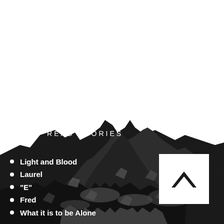[Figure (illustration): Dark stylized mountain landscape with peaks against a white sky, rendered in shades of black, dark grey, and charcoal in a graphic illustration style.]
MOST READ STORIES
Light and Blood
Laurel
"E"
Fred
What it is to be Alone
[Figure (logo): White square box containing a dark upward-pointing chevron/caret symbol (house roof shape), resembling a logo or navigation icon.]